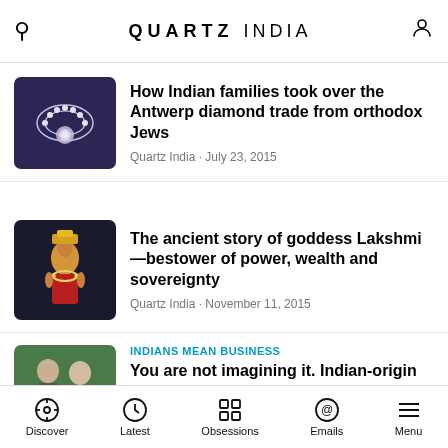QUARTZ INDIA
How Indian families took over the Antwerp diamond trade from orthodox Jews
Quartz India · July 23, 2015
The ancient story of goddess Lakshmi—bestower of power, wealth and sovereignty
Quartz India · November 11, 2015
INDIANS MEAN BUSINESS
You are not imagining it. Indian-origin
Discover | Latest | Obsessions | Emails | Menu